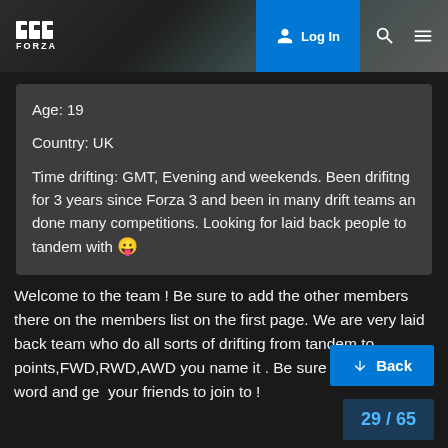FORZA | Log In
Age: 19

Country: UK

Time drifting: GMT, Evening and weekends. Been drifitng for 3 years since Forza 3 and been in many drift teams an done many competitions. Looking for laid back people to tandem with 😛
Welcome to the team ! Be sure to add the other members there on the members list on the first page. We are very laid back team who do all sorts of drifting from tandem to points,FWD,RWD,AWD you name it . Be sure to spread the word and get your friends to join to !